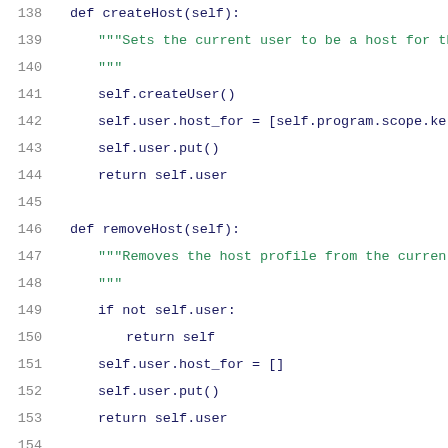[Figure (screenshot): Python source code snippet showing methods createHost, removeHost, and createOrgAdmin with line numbers 138-159, displayed in a code editor with syntax highlighting (keywords in dark blue, strings/docstrings in green).]